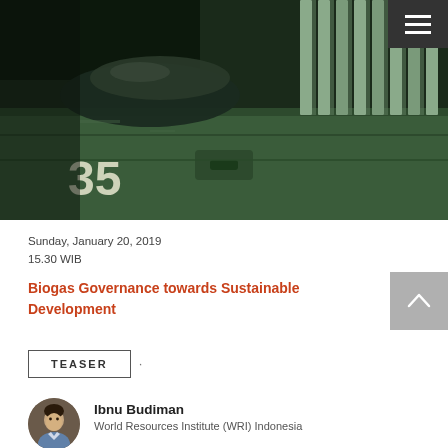[Figure (photo): A green dumpster/waste container numbered 35 with a black garbage bag inside, photographed close-up from the front.]
Sunday, January 20, 2019
15.30 WIB
Biogas Governance towards Sustainable Development
TEASER
Ibnu Budiman
World Resources Institute (WRI) Indonesia